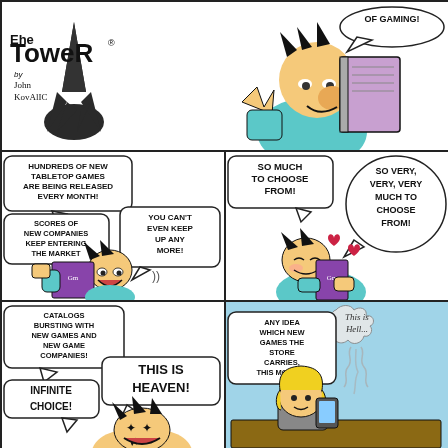[Figure (illustration): Comic strip panel 1: Top strip showing 'The Power' title with rocket logo, 'by John Kovalic' byline, and a cartoon man reading a book with speech bubble 'OF GAMING!']
[Figure (illustration): Comic strip panel 2: Middle left panel with speech bubbles: 'HUNDREDS OF NEW TABLETOP GAMES ARE BEING RELEASED EVERY MONTH!', 'SCORES OF NEW COMPANIES KEEP ENTERING THE MARKET', 'YOU CAN'T EVEN KEEP UP ANY MORE!' Character reading a magazine.]
[Figure (illustration): Comic strip panel 3: Middle right panel. Speech bubbles: 'SO MUCH TO CHOOSE FROM!', 'SO VERY, VERY, VERY MUCH TO CHOOSE FROM!' Character hugging a book with hearts.]
[Figure (illustration): Comic strip panel 4: Bottom left panel. Text: 'CATALOGS BURSTING WITH NEW GAMES AND NEW GAME COMPANIES!', 'INFINITE CHOICE!', 'THIS IS HEAVEN!']
[Figure (illustration): Comic strip panel 5: Bottom right panel with blue background (heaven scene). Text: 'ANY IDEA WHICH NEW GAMES THE STORE CARRIES, THIS MONTH?', thought bubble: 'This is Hell...']